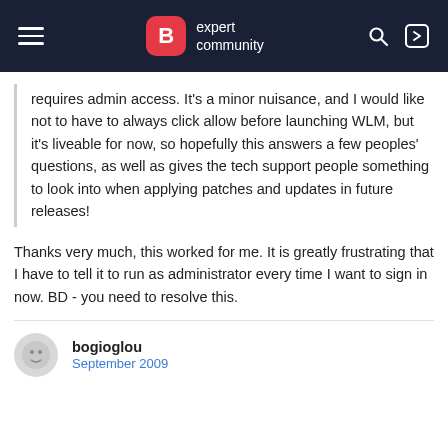B expert community
requires admin access. It's a minor nuisance, and I would like not to have to always click allow before launching WLM, but it's liveable for now, so hopefully this answers a few peoples' questions, as well as gives the tech support people something to look into when applying patches and updates in future releases!
Thanks very much, this worked for me. It is greatly frustrating that I have to tell it to run as administrator every time I want to sign in now. BD - you need to resolve this.
bogioglou
September 2009